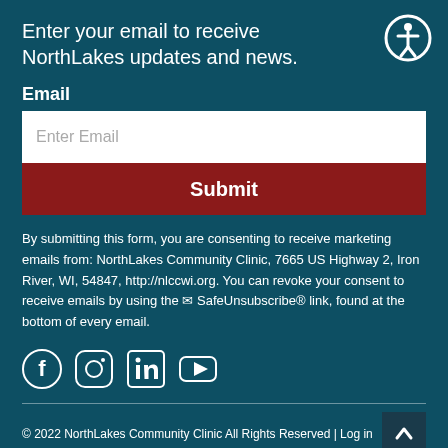Enter your email to receive NorthLakes updates and news.
Email
Enter Email
Submit
By submitting this form, you are consenting to receive marketing emails from: NorthLakes Community Clinic, 7665 US Highway 2, Iron River, WI, 54847, http://nlccwi.org. You can revoke your consent to receive emails by using the ✉ SafeUnsubscribe® link, found at the bottom of every email.
[Figure (illustration): Social media icons: Facebook, Instagram, LinkedIn, YouTube]
© 2022 NorthLakes Community Clinic All Rights Reserved | Log in